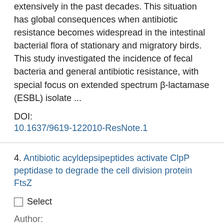extensively in the past decades. This situation has global consequences when antibiotic resistance becomes widespread in the intestinal bacterial flora of stationary and migratory birds. This study investigated the incidence of fecal bacteria and general antibiotic resistance, with special focus on extended spectrum β-lactamase (ESBL) isolate ...
DOI:
10.1637/9619-122010-ResNote.1
4. Antibiotic acyldepsipeptides activate ClpP peptidase to degrade the cell division protein FtsZ
Select
Author:
Peter Sass; Michaele Josten; Kirsten Famulla; Guido Schiffer; Hans-Georg Sahl; Leendert Hamoen; Heike Brötz-Oesterhelt
Source:
Proceedings of the National Academy of Sciences of the